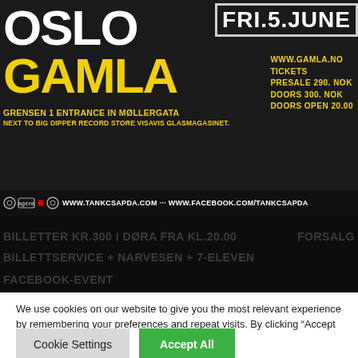[Figure (infographic): Concert event poster for Tank CSAPDA in Oslo Gamla on Friday 5 June. White text OSLO, yellow text GAMLA, venue details: Grensen 1 entrance in Møllergata, next to Big Dipper Record Store Visavis Glasmagasinet. Website www.gamla.no, tickets presale 290 NOK, doors 300 NOK, doors open 20.00. Social links www.tankcsapda.com and www.facebook.com/tankcsapda.]
BILLETTER KR.300 I DØRA FRA KL.20.00        FORSALG BILLETTSERVICE + NARVESEN + 7-ELEVEN

FACEBOOK-EVENT
We use cookies on our website to give you the most relevant experience by remembering your preferences and repeat visits. By clicking "Accept All", you consent to the use of ALL the cookies. However, you may visit "Cookie Settings" to provide a controlled consent.
Cookie Settings   Accept All